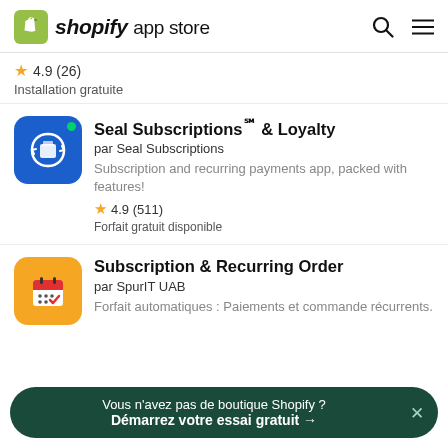shopify app store
4.9 (26)
Installation gratuite
Seal Subscriptions℠ & Loyalty
par Seal Subscriptions
Subscription and recurring payments app, packed with features!
4.9 (511)
Forfait gratuit disponible
Subscription & Recurring Order
par SpurIT UAB
Forfait automatiques : Paiements et commande récurrents.
Vous n'avez pas de boutique Shopify ?
Démarrez votre essai gratuit →